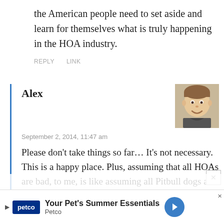the American people need to set aside and learn for themselves what is truly happening in the HOA industry.
REPLY   LINK
Alex
September 2, 2014, 11:47 am
Please don't take things so far… It's not necessary. This is a happy place. Plus, assuming that all HOAs are bad, to me, is like assuming all Pitbull dogs are bad. It's just not true. Or worse yet, it's almost like being racist. Let's just not do that. That's assuming
[Figure (photo): Avatar photo of commenter Alex, a young man smiling]
Your Pet's Summer Essentials — Petco (advertisement)